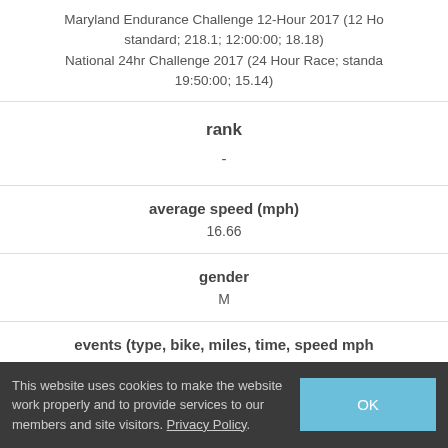| Maryland Endurance Challenge 12-Hour 2017 (12 Hour Race; standard; 218.1; 12:00:00; 18.18)
National 24hr Challenge 2017 (24 Hour Race; standard; 19:50:00; 15.14) |
| rank | - |
| average speed (mph) | 16.66 |
| gender | M |
| events (type, bike, miles, time, speed mph) | Maryland Endurance Challenge 12-Hour 2017 (12 Hour Race; standard; 218.1; 12:00:00; 18.18) |
This website uses cookies to make the website work properly and to provide services to our members and site visitors. Privacy Policy.